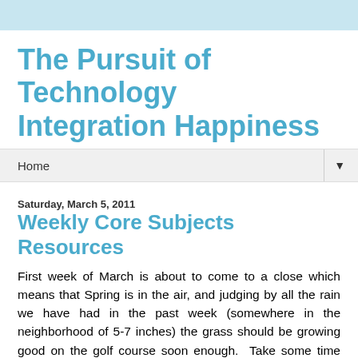The Pursuit of Technology Integration Happiness
Home
Saturday, March 5, 2011
Weekly Core Subjects Resources
First week of March is about to come to a close which means that Spring is in the air, and judging by all the rain we have had in the past week (somewhere in the neighborhood of 5-7 inches) the grass should be growing good on the golf course soon enough.  Take some time this spring to check out all of my Weekly Core Subjects Resources Posts and find something that you can use in your classroom.  You will also